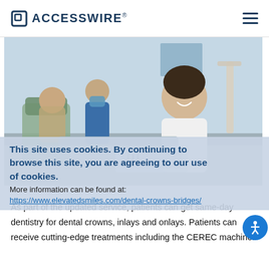ACCESSWIRE®
[Figure (photo): Dental office scene showing a smiling dentist in white coat consulting with patients, dental assistant in blue scrubs and mask visible in background]
This site uses cookies. By continuing to browse this site, you are agreeing to our use of cookies. More information can be found at:
More information can be found at:
https://www.elevatedsmiles.com/dental-crowns-bridges/
As part of the updated service, patients can get same-day dentistry for dental crowns, inlays and onlays. Patients can receive cutting-edge treatments including the CEREC machine.